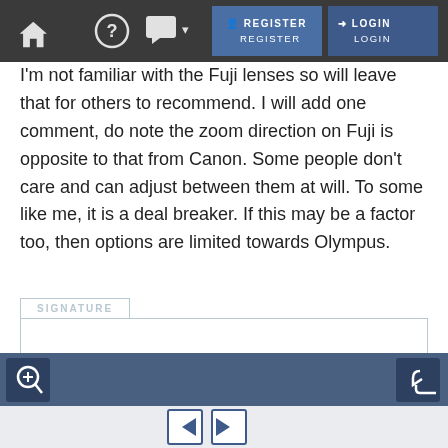[Figure (screenshot): Website navigation bar with home icon, help icon, chat icon with dropdown, Register button (blue), and Login button (blue-dark)]
I'm not familiar with the Fuji lenses so will leave that for others to recommend. I will add one comment, do note the zoom direction on Fuji is opposite to that from Canon. Some people don't care and can adjust between them at will. To some like me, it is a deal breaker. If this may be a factor too, then options are limited towards Olympus.
SIGNATURE
[Figure (screenshot): Forum toolbar with zoom/magnify button on left, reply/undo button on right, on a medium-blue background]
[Figure (screenshot): Search thread input field with placeholder 'Enter Keywords' and a 'Search Thread' button]
[Figure (screenshot): Pagination navigation with back arrow button and forward arrow button]